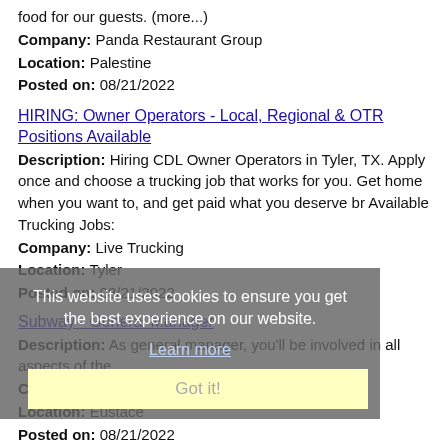food for our guests. (more...)
Company: Panda Restaurant Group
Location: Palestine
Posted on: 08/21/2022
HIRING: Owner Operators - Local, Regional & OTR Positions Available
Description: Hiring CDL Owner Operators in Tyler, TX. Apply once and choose a trucking job that works for you. Get home when you want to, and get paid what you deserve br Available Trucking Jobs:
Company: Live Trucking
Location: Tyler
Posted on: 08/21/2022
Subway - General Manager
Description: As general manager, you'll be involved in all aspects of the
Company: Seasoned
Location: Eustace
Posted on: 08/21/2022
Registered Nurse (PACT-Charge Nurse) - Tyler, Texas - Med Surg
Description: Registered Nurse PACT-Charge Nurse - Tyler, Texas br